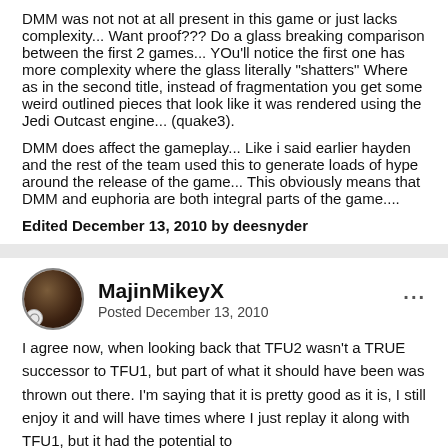DMM was not not at all present in this game or just lacks complexity... Want proof??? Do a glass breaking comparison between the first 2 games... YOu'll notice the first one has more complexity where the glass literally "shatters" Where as in the second title, instead of fragmentation you get some weird outlined pieces that look like it was rendered using the Jedi Outcast engine... (quake3).
DMM does affect the gameplay... Like i said earlier hayden and the rest of the team used this to generate loads of hype around the release of the game... This obviously means that DMM and euphoria are both integral parts of the game....
Edited December 13, 2010 by deesnyder
MajinMikeyX
Posted December 13, 2010
I agree now, when looking back that TFU2 wasn't a TRUE successor to TFU1, but part of what it should have been was thrown out there. I'm saying that it is pretty good as it is, I still enjoy it and will have times where I just replay it along with TFU1, but it had the potential to